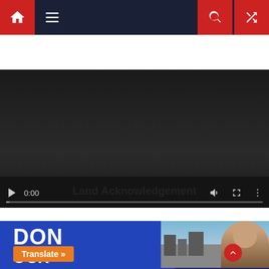[Figure (screenshot): Website navigation bar with home icon (red), hamburger menu, search icon (red), and shuffle icon (red) on dark background]
[Figure (screenshot): Video player with dark background showing paused state at 0:00 with playback controls including play button, time display, volume, fullscreen, and more options buttons, with a progress bar at the bottom]
Land Acknowledgement
[Figure (photo): Banner with dark blue background featuring bold white text 'DON' and 'OCK', an orange 'Translate »' button, and a photo of a smiling person with a cityscape background. A red scroll-to-top button is visible.]